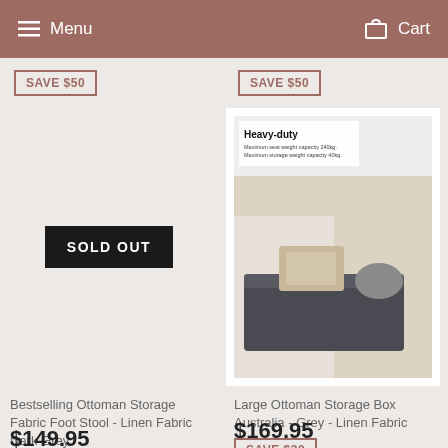Menu  Cart
SAVE $50
SAVE $50
[Figure (photo): Left product area showing SOLD OUT button overlay on grey background]
[Figure (photo): Large Ottoman Storage Box in dark grey linen fabric with luggage on top, showing Heavy-duty label]
Bestselling Ottoman Storage Fabric Foot Stool - Linen Fabric Dark Grey
$149.95
Large Ottoman Storage Box Australia - Grey - Linen Fabric
$169.95
SAVE $30